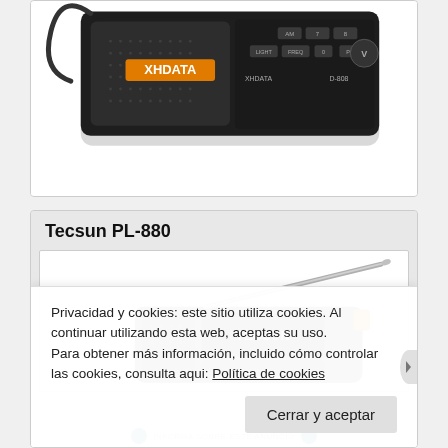[Figure (photo): XHDATA D-808 portable radio shown from top/front angle with orange XHDATA label and buttons visible]
Tecsun PL-880
[Figure (photo): Tecsun PL-880 portable radio with extended silver antenna, dark grey body with TECSUN branding and orange button]
Privacidad y cookies: este sitio utiliza cookies. Al continuar utilizando esta web, aceptas su uso.
Para obtener más información, incluido cómo controlar las cookies, consulta aqui: Política de cookies